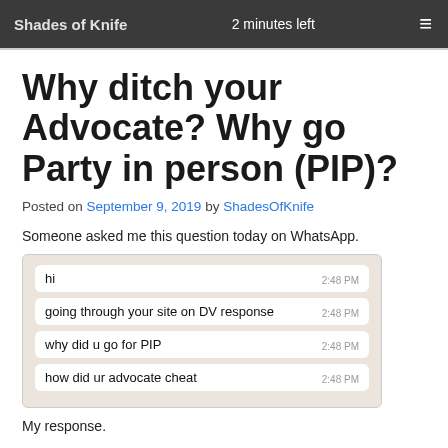Shades of Knife  2 minutes left
Why ditch your Advocate? Why go Party in person (PIP)?
Posted on September 9, 2019 by ShadesOfKnife
Someone asked me this question today on WhatsApp.
[Figure (screenshot): WhatsApp chat screenshot showing four messages: 'hi 2:48 PM', 'going through your site on DV response 2:48 PM', 'why did u go for PIP 2:48 PM', 'how did ur advocate cheat 2:48 PM']
My response.